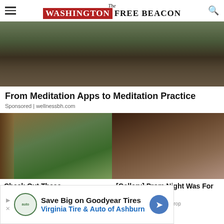The Washington Free Beacon
[Figure (photo): Person sitting cross-legged on a patterned floor in a meditation pose, wearing a lanyard badge]
From Meditation Apps to Meditation Practice
Sponsored | wellnessbh.com
[Figure (photo): A door opening to reveal a scenic mountain valley landscape with green hills]
Check Out These
Sponsored | Discoveryfeed
[Figure (photo): Portrait of a young woman with dark curly hair, vintage style photo]
[Gallery] Prom Night Was For These
Sponsored | The Sports Drop
[Figure (other): Advertisement banner: Save Big on Goodyear Tires - Virginia Tire & Auto of Ashburn]